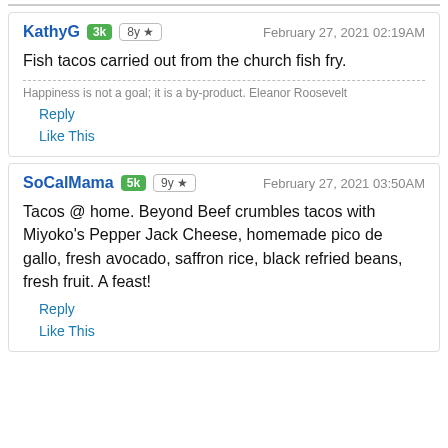KathyG 3k 8y ★ February 27, 2021 02:19AM
Fish tacos carried out from the church fish fry.
Happiness is not a goal; it is a by-product. Eleanor Roosevelt
Reply
Like This
SoCalMama 5k 9y ★ February 27, 2021 03:50AM
Tacos @ home. Beyond Beef crumbles tacos with Miyoko's Pepper Jack Cheese, homemade pico de gallo, fresh avocado, saffron rice, black refried beans, fresh fruit. A feast!
Reply
Like This